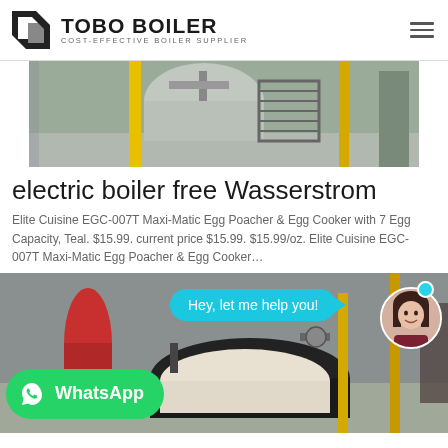TOBO BOILER COST-EFFECTIVE BOILER SUPPLIER
[Figure (photo): Industrial boiler room with yellow metal piping, cylindrical vessels, a metal staircase, and industrial equipment inside a facility.]
electric boiler free Wasserstrom
Elite Cuisine EGC-007T Maxi-Matic Egg Poacher & Egg Cooker with 7 Egg Capacity, Teal. $15.99. current price $15.99. $15.99/oz. Elite Cuisine EGC-007T Maxi-Matic Egg Poacher & Egg Cooker…
[Figure (photo): Industrial boiler room showing large cylindrical boiler tanks with black and white insulation, pipes, gauges, and yellow metal supports. A chat bubble overlay says 'Hey, let me help you!' and a WhatsApp button is visible in the lower left. A woman's avatar with an online indicator is shown in the upper right.]